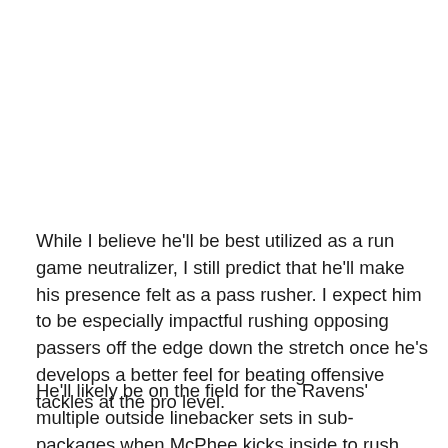While I believe he'll be best utilized as a run game neutralizer, I still predict that he'll make his presence felt as a pass rusher. I expect him to be especially impactful rushing opposing passers off the edge down the stretch once he's develops a better feel for beating offensive tackles at the pro level.
He'll likely be on the field for the Ravens' multiple outside linebacker sets in sub-packages when McPhee kicks inside to rush from the interior. Oweh's ability to